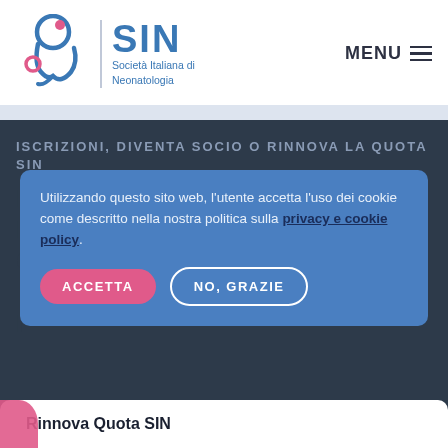[Figure (logo): SIN - Società Italiana di Neonatologia logo with stylized mother and child icon in blue and pink]
ISCRIZIONI, DIVENTA SOCIO O RINNOVA LA QUOTA SIN
Utilizzando questo sito web, l'utente accetta l'uso dei cookie come descritto nella nostra politica sulla privacy e cookie policy.
ACCETTA   NO, GRAZIE
Rinnova Quota SIN